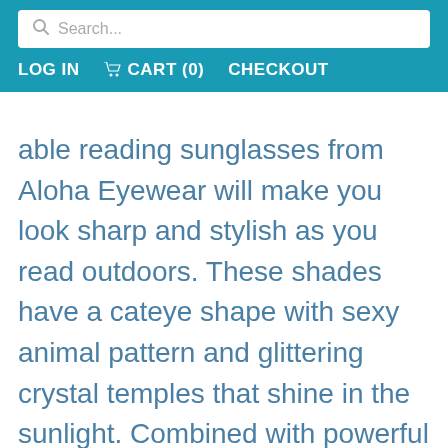Search...
LOG IN  CART (0)  CHECKOUT
able reading sunglasses from Aloha Eyewear will make you look sharp and stylish as you read outdoors. These shades have a cateye shape with sexy animal pattern and glittering crystal temples that shine in the sunlight. Combined with powerful reading lenses to protect your eyes from the harsh sunlight, Lynx full reading sunglasses are the ultimate marriage of form and function. Perfect for a full day of lounging on